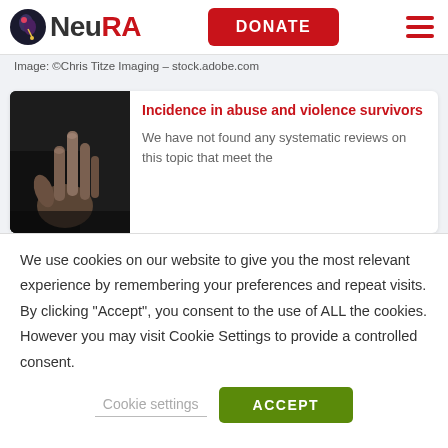NeuRA | DONATE
Image: ©Chris Titze Imaging – stock.adobe.com
Incidence in abuse and violence survivors
We have not found any systematic reviews on this topic that meet the
We use cookies on our website to give you the most relevant experience by remembering your preferences and repeat visits. By clicking "Accept", you consent to the use of ALL the cookies. However you may visit Cookie Settings to provide a controlled consent.